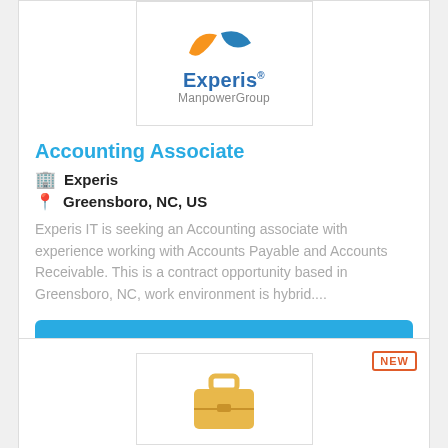[Figure (logo): Experis ManpowerGroup logo with orange and blue swoosh marks above the text 'Experis' in blue and 'ManpowerGroup' in gray]
Accounting Associate
Experis
Greensboro, NC, US
Experis IT is seeking an Accounting associate with experience working with Accounts Payable and Accounts Receivable. This is a contract opportunity based in Greensboro, NC, work environment is hybrid....
More Details
[Figure (illustration): Briefcase icon in golden/yellow color, partially visible at bottom of page, with NEW badge in top right corner]